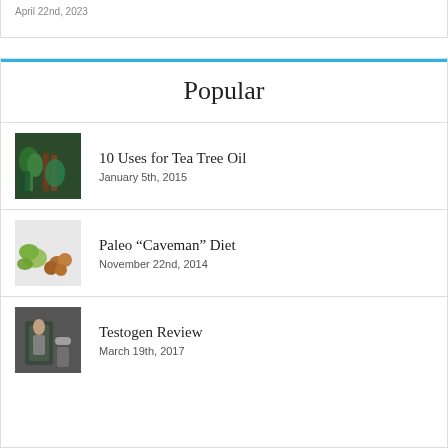April 22nd, 2023
Popular
10 Uses for Tea Tree Oil | January 5th, 2015
Paleo “Caveman” Diet | November 22nd, 2014
Testogen Review | March 19th, 2017